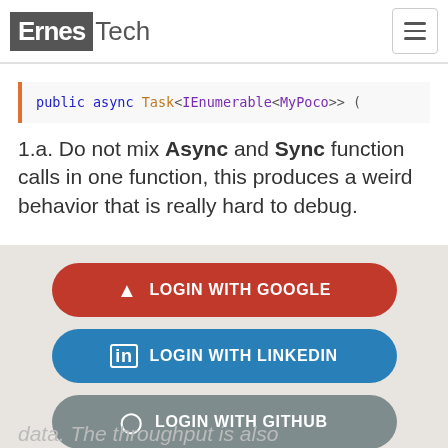ErnesTech
[Figure (screenshot): Code snippet showing: public async Task<IEnumerable<MyPoco>> (truncated), with syntax highlighting on a light background with orange left border]
1.a. Do not mix Async and Sync function calls in one function, this produces a weird behavior that is really hard to debug.
[Figure (infographic): Login modal overlay with three buttons: LOGIN WITH GOOGLE (red), LOGIN WITH LINKEDIN (blue), LOGIN WITH GITHUB (gray)]
data. The throughput is also